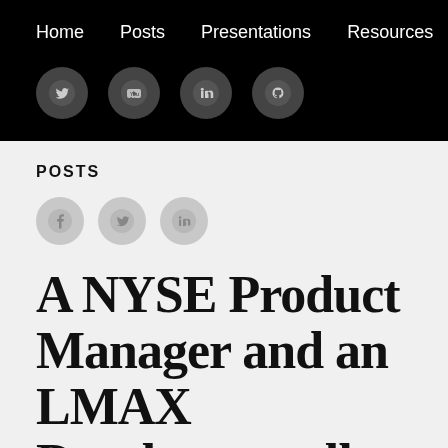Home  Posts  Presentations  Resources
[Figure (illustration): Social media icons: Twitter, YouTube, LinkedIn, GitHub — white circles on black background]
POSTS
[Figure (illustration): Share icons: Facebook, Twitter, LinkedIn — grey circles on light background]
A NYSE Product Manager and an LMAX Developer walk into a low